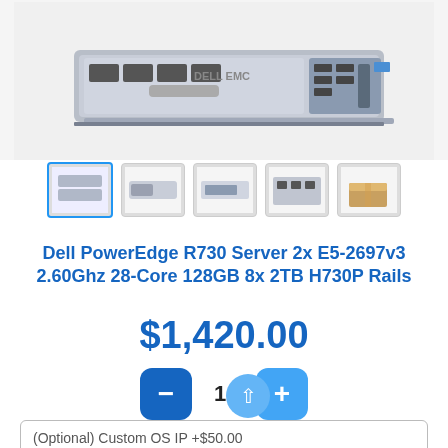[Figure (photo): Dell PowerEdge R730 server hardware photo showing front panel with drive bays]
[Figure (photo): Product thumbnail gallery with 5 images: stacked servers (selected/active), side view, front view, drive bay close-up, and shipping box]
Dell PowerEdge R730 Server 2x E5-2697v3 2.60Ghz 28-Core 128GB 8x 2TB H730P Rails
$1,420.00
1
(Optional) Custom OS IP +$50.00